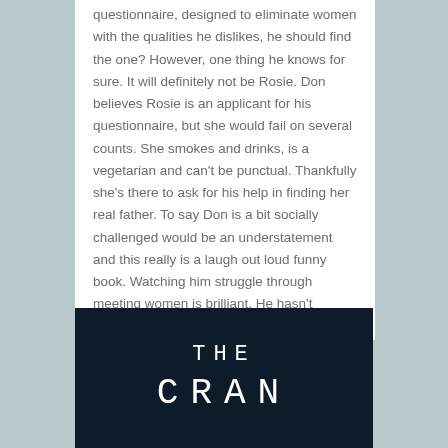questionnaire, designed to eliminate women with the qualities he dislikes, he should find the one? However, one thing he knows for sure. It will definitely not be Rosie. Don believes Rosie is an applicant for his questionnaire, but she would fail on several counts. She smokes and drinks, is a vegetarian and can't be punctual. Thankfully she's there to ask for his help in finding her real father. To say Don is a bit socially challenged would be an understatement and this really is a laugh out loud funny book. Watching him struggle through meeting women is brilliant. He hasn't realised that love has a language all of its own.
[Figure (illustration): Book cover with dark navy background showing 'THE' in large spaced letters and 'CRAN' (partially visible) below it in white thin font]